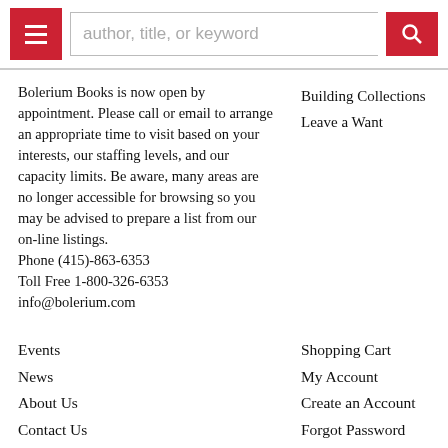[Figure (screenshot): Website header with hamburger menu button (red), search input field with placeholder 'author, title, or keyword', and red search button with magnifying glass icon]
Bolerium Books is now open by appointment. Please call or email to arrange an appropriate time to visit based on your interests, our staffing levels, and our capacity limits. Be aware, many areas are no longer accessible for browsing so you may be advised to prepare a list from our on-line listings.
Phone (415)-863-6353
Toll Free 1-800-326-6353
info@bolerium.com
Building Collections
Leave a Want
Events
Shopping Cart
News
My Account
About Us
Create an Account
Contact Us
Forgot Password
Terms of Sale
Privacy Policy
[Figure (logo): Facebook circular logo icon, black circle with white F]